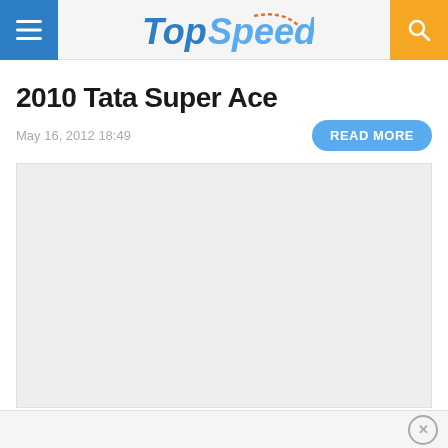TopSpeed
2010 Tata Super Ace
May 16, 2012 18:49
READ MORE
[Figure (photo): Image placeholder for 2010 Tata Super Ace article]